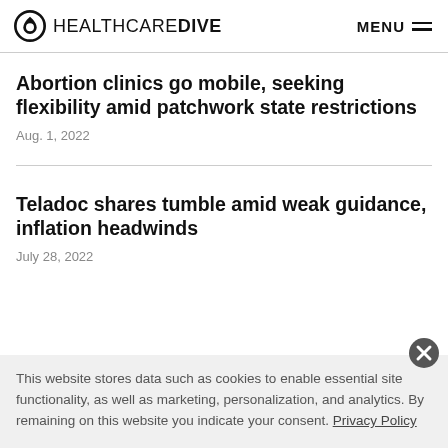HEALTHCAREDIVE  MENU
Abortion clinics go mobile, seeking flexibility amid patchwork state restrictions
Aug. 1, 2022
Teladoc shares tumble amid weak guidance, inflation headwinds
July 28, 2022
This website stores data such as cookies to enable essential site functionality, as well as marketing, personalization, and analytics. By remaining on this website you indicate your consent. Privacy Policy